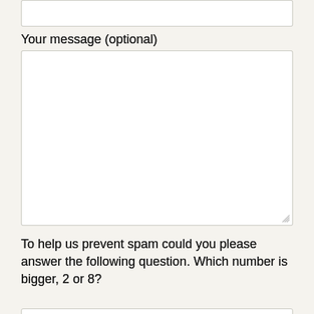Your message (optional)
[Figure (screenshot): Large empty textarea input box for message]
To help us prevent spam could you please answer the following question. Which number is bigger, 2 or 8?
[Figure (screenshot): Small empty text input box for spam answer]
[Figure (screenshot): Green submit button at bottom left]